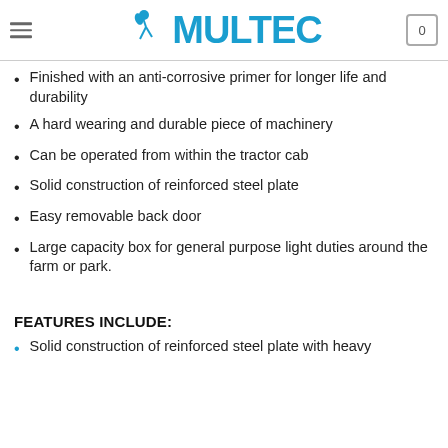MULTEC
Finished with an anti-corrosive primer for longer life and durability
A hard wearing and durable piece of machinery
Can be operated from within the tractor cab
Solid construction of reinforced steel plate
Easy removable back door
Large capacity box for general purpose light duties around the farm or park.
FEATURES INCLUDE:
Solid construction of reinforced steel plate with heavy